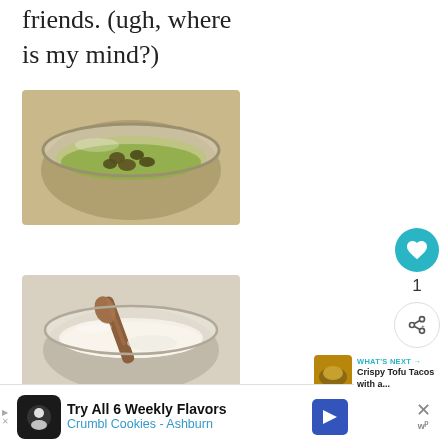friends. (ugh, where is my mind?)
[Figure (photo): A glass bowl containing green shredded lettuce and dark capers or olives, viewed from above on a light surface]
[Figure (photo): A glass bowl containing white creamy sauce or dip with a wooden spoon resting in it, viewed from above]
[Figure (other): Like/heart button (teal circle with heart icon), count of 1, and share button]
WHAT'S NEXT → Crispy Tofu Tacos with a...
Try All 6 Weekly Flavors
Crumbl Cookies - Ashburn